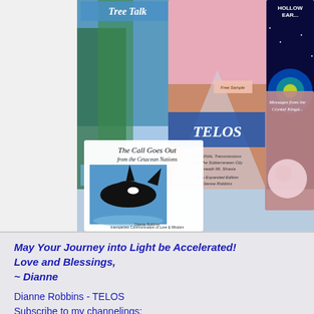[Figure (photo): Collage of book covers by Dianne Robbins: 'Tree Talk', 'The Call Goes Out from the Cetacean Nations', 'TELOS - ORIGINAL Transmissions from the Subterranean City beneath Mt. Shasta, New Expanded Edition', 'Hollow Earth', and 'Messages from the Crystal Kingdom']
May Your Journey into Light be Accelerated! Love and Blessings, ~ Dianne
Dianne Robbins - TELOS
Subscribe to my channelings: